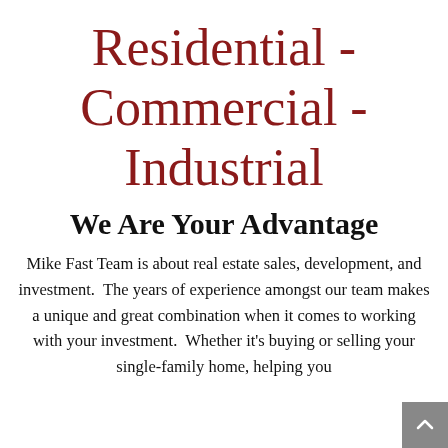Residential - Commercial - Industrial
We Are Your Advantage
Mike Fast Team is about real estate sales, development, and investment.  The years of experience amongst our team makes a unique and great combination when it comes to working with your investment.  Whether it's buying or selling your single-family home, helping you